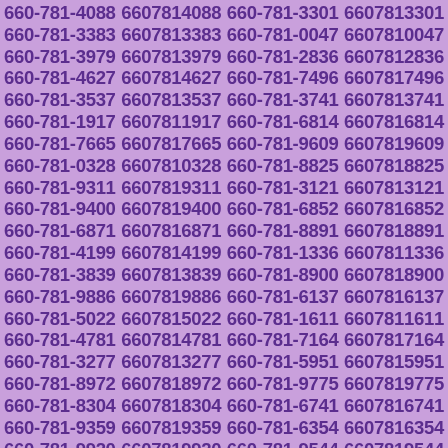660-781-4088 6607814088 660-781-3301 6607813301
660-781-3383 6607813383 660-781-0047 6607810047
660-781-3979 6607813979 660-781-2836 6607812836
660-781-4627 6607814627 660-781-7496 6607817496
660-781-3537 6607813537 660-781-3741 6607813741
660-781-1917 6607811917 660-781-6814 6607816814
660-781-7665 6607817665 660-781-9609 6607819609
660-781-0328 6607810328 660-781-8825 6607818825
660-781-9311 6607819311 660-781-3121 6607813121
660-781-9400 6607819400 660-781-6852 6607816852
660-781-6871 6607816871 660-781-8891 6607818891
660-781-4199 6607814199 660-781-1336 6607811336
660-781-3839 6607813839 660-781-8900 6607818900
660-781-9886 6607819886 660-781-6137 6607816137
660-781-5022 6607815022 660-781-1611 6607811611
660-781-4781 6607814781 660-781-7164 6607817164
660-781-3277 6607813277 660-781-5951 6607815951
660-781-8972 6607818972 660-781-9775 6607819775
660-781-8304 6607818304 660-781-6741 6607816741
660-781-9359 6607819359 660-781-6354 6607816354
660-781-9920 6607819920 660-781-9544 6607819544